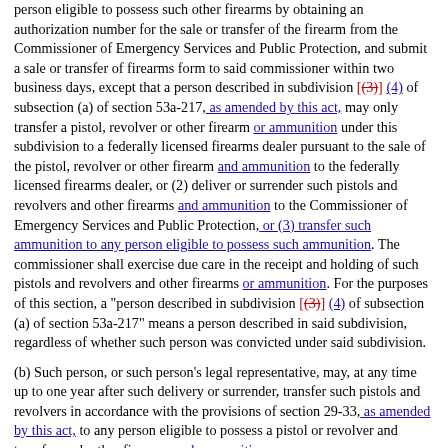person eligible to possess such other firearms by obtaining an authorization number for the sale or transfer of the firearm from the Commissioner of Emergency Services and Public Protection, and submit a sale or transfer of firearms form to said commissioner within two business days, except that a person described in subdivision [(3)] (4) of subsection (a) of section 53a-217, as amended by this act, may only transfer a pistol, revolver or other firearm or ammunition under this subdivision to a federally licensed firearms dealer pursuant to the sale of the pistol, revolver or other firearm and ammunition to the federally licensed firearms dealer, or (2) deliver or surrender such pistols and revolvers and other firearms and ammunition to the Commissioner of Emergency Services and Public Protection, or (3) transfer such ammunition to any person eligible to possess such ammunition. The commissioner shall exercise due care in the receipt and holding of such pistols and revolvers and other firearms or ammunition. For the purposes of this section, a "person described in subdivision [(3)] (4) of subsection (a) of section 53a-217" means a person described in said subdivision, regardless of whether such person was convicted under said subdivision.
(b) Such person, or such person's legal representative, may, at any time up to one year after such delivery or surrender, transfer such pistols and revolvers in accordance with the provisions of section 29-33, as amended by this act, to any person eligible to possess a pistol or revolver and transfer such other firearms and ammunition